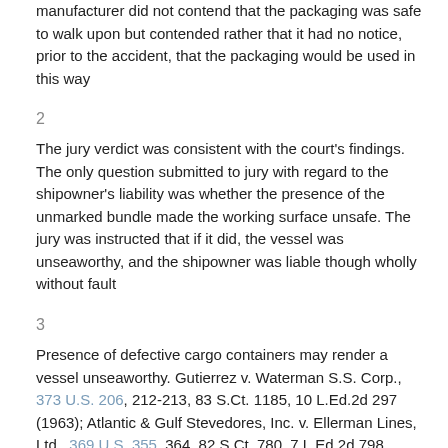manufacturer did not contend that the packaging was safe to walk upon but contended rather that it had no notice, prior to the accident, that the packaging would be used in this way
2
The jury verdict was consistent with the court's findings. The only question submitted to jury with regard to the shipowner's liability was whether the presence of the unmarked bundle made the working surface unsafe. The jury was instructed that if it did, the vessel was unseaworthy, and the shipowner was liable though wholly without fault
3
Presence of defective cargo containers may render a vessel unseaworthy. Gutierrez v. Waterman S.S. Corp., 373 U.S. 206, 212-213, 83 S.Ct. 1185, 10 L.Ed.2d 297 (1963); Atlantic & Gulf Stevedores, Inc. v. Ellerman Lines, Ltd., 369 U.S. 355, 364, 82 S.Ct. 780, 7 L.Ed.2d 798 (1962). In Gutierrez the Supreme Court explicitly approved the holding in Reddick v. McAllister Lighterage Line, Inc., 258 F.2d 297, 299 (2d Cir. 1958), 'that a longshoreman could recover for injuries caused by a 'latent defect' in a cargo crate which broke when the longshoreman stood on it.' 373 U.S. at 213, 83 S.Ct. at 1190